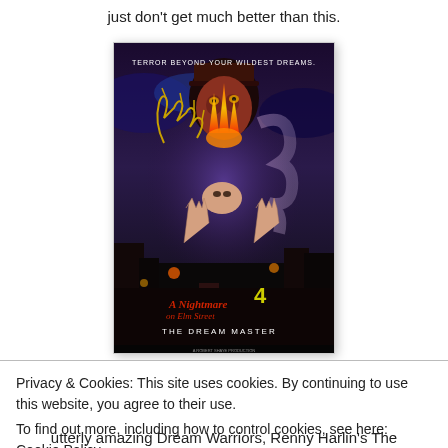just don't get much better than this.
[Figure (photo): Movie poster for A Nightmare on Elm Street 4: The Dream Master. Dark background with Freddy Krueger looming over two reaching hands and a woman's face. Text reads 'TERROR BEYOND YOUR WILDEST DREAMS.' at the top and 'A Nightmare on Elm Street 4 The Dream Master' at the bottom.]
Privacy & Cookies: This site uses cookies. By continuing to use this website, you agree to their use.
To find out more, including how to control cookies, see here: Cookie Policy
utterly amazing Dream Warriors, Renny Harlin's The